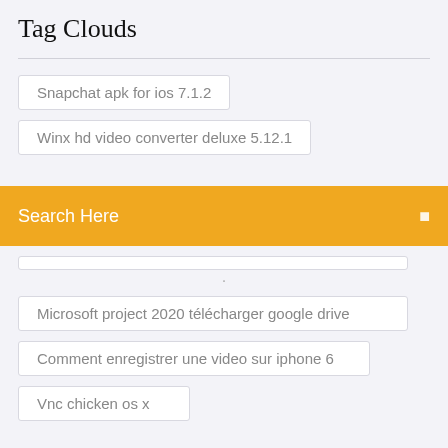Tag Clouds
Snapchat apk for ios 7.1.2
Winx hd video converter deluxe 5.12.1
Search Here
Microsoft project 2020 télécharger google drive
Comment enregistrer une video sur iphone 6
Vnc chicken os x